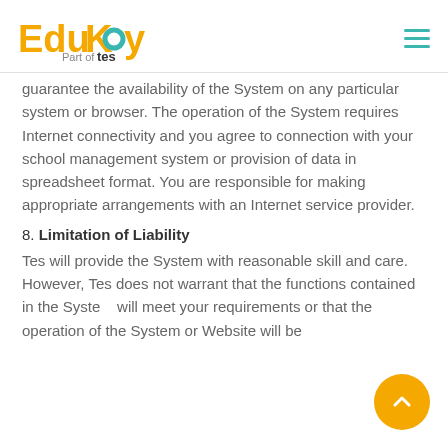EduKey Part of tes
guarantee the availability of the System on any particular system or browser. The operation of the System requires Internet connectivity and you agree to connection with your school management system or provision of data in spreadsheet format. You are responsible for making appropriate arrangements with an Internet service provider.
8. Limitation of Liability
Tes will provide the System with reasonable skill and care. However, Tes does not warrant that the functions contained in the System will meet your requirements or that the operation of the System or Website will be